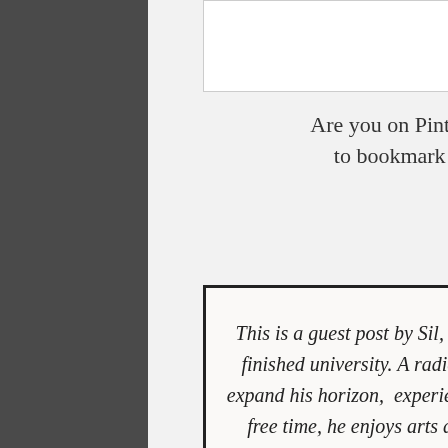[Figure (other): White rectangular image placeholder box with border]
Are you on Pinterest? If you are, use this photo to bookmark and/or share this blog post ;)
This is a guest post by Sil, a Filipino bitten by the travel bug the moment he finished university. A radical sabbatical, Sil moved to Malaysia in 2013 to expand his horizon,  experience the local culture and learn Malay. During his free time, he enjoys arts and crafts, and exploring neighborhood gems of Kuala Lumpur.